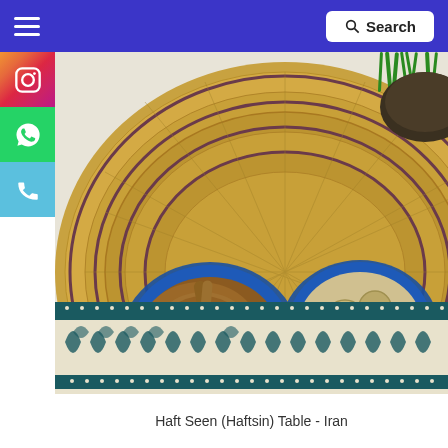Search
[Figure (photo): Top-down view of a Haft Seen (Haftsin) table setup from Iran, showing a large woven wicker tray with two blue ceramic bowls — one containing brown powder/spice and another containing old coins — alongside green sprouts, all placed on a decorative blue and white patterned textile tablecloth.]
Haft Seen (Haftsin) Table - Iran